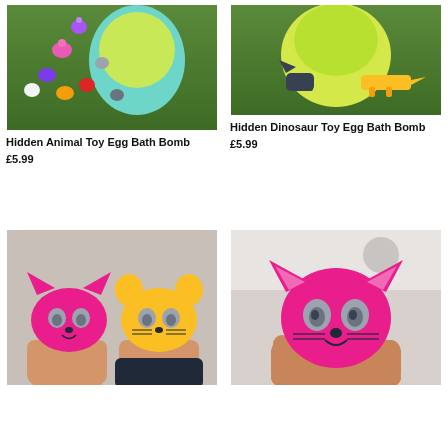[Figure (photo): Colorful bath bomb egg with small animal toys (pink hippo, purple gorilla, red bird, grey elephant, white polar bear, etc.) arranged on grass next to the teal/yellow egg]
Hidden Animal Toy Egg Bath Bomb
£5.99
[Figure (photo): Yellow/green bath bomb egg on green grass with a dark dinosaur figure and a yellow crocodile/dinosaur toy beside it]
Hidden Dinosaur Toy Egg Bath Bomb
£5.99
[Figure (photo): Two hands holding pink cat-face and yellow mouse-face bath bombs side by side]
[Figure (photo): Hand holding a single pink cat-face bath bomb close up]